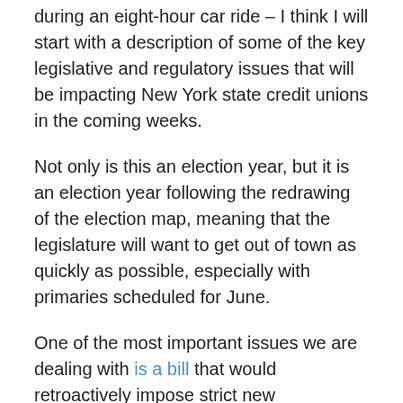during an eight-hour car ride – I think I will start with a description of some of the key legislative and regulatory issues that will be impacting New York state credit unions in the coming weeks.
Not only is this an election year, but it is an election year following the redrawing of the election map, meaning that the legislature will want to get out of town as quickly as possible, especially with primaries scheduled for June.
One of the most important issues we are dealing with is a bill that would retroactively impose strict new requirements on lenders foreclosing on property (S5473D Sanders).  As many of our members have already explained to their representatives during our state GAC, as currently drafted, the retroactive application of this bill and the ambiguity regarding the right of lenders and borrowers to negotiate